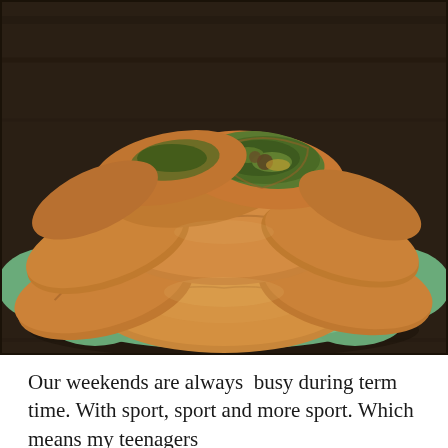[Figure (photo): A pile of golden-brown baked pastry pockets (empanadas or similar stuffed pastries) served in a green flower-shaped ceramic dish on a dark wooden table. Some pastries are cut open revealing a savory filling with green vegetables and meat.]
Our weekends are always  busy during term time. With sport, sport and more sport. Which means my teenagers